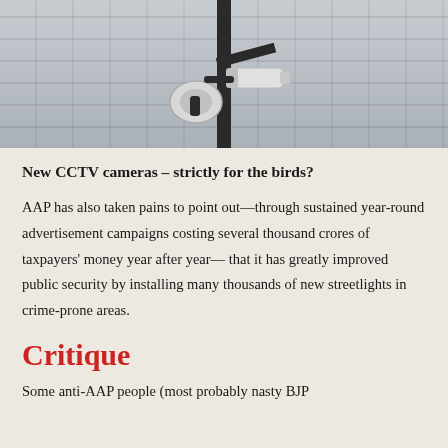[Figure (photo): CCTV security cameras mounted on a pole in front of a building]
New CCTV cameras – strictly for the birds?
AAP has also taken pains to point out—through sustained year-round advertisement campaigns costing several thousand crores of taxpayers' money year after year— that it has greatly improved public security by installing many thousands of new streetlights in crime-prone areas.
Critique
Some anti-AAP people (most probably nasty BJP